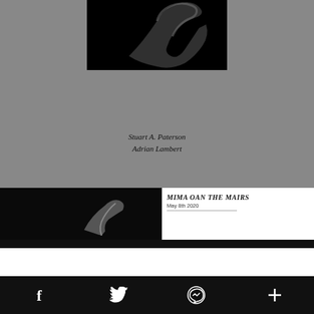[Figure (photo): Black and white photograph of a human hand or body silhouette against a dark background, shown on a grey page background]
Stuart A. Paterson
Adrian Lambert
[Figure (photo): Black and white photograph of a hand gesture against a black background, lower left of page]
MIMA OAN THE MAIRS
May 8th 2020
Facebook | Twitter | Messenger | More (share icons)